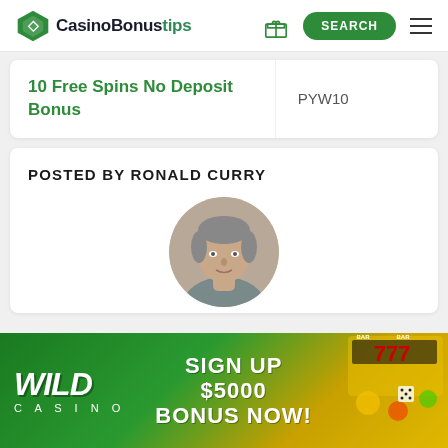CasinoBonustips — SEARCH
| 10 Free Spins No Deposit Bonus | PYW10 |
POSTED BY RONALD CURRY
[Figure (photo): Circular portrait photo of Ronald Curry, a middle-aged man with gray hair]
[Figure (infographic): Wild Casino advertisement banner: SIGN UP $5000 BONUS NOW! with slot machine imagery showing 777]